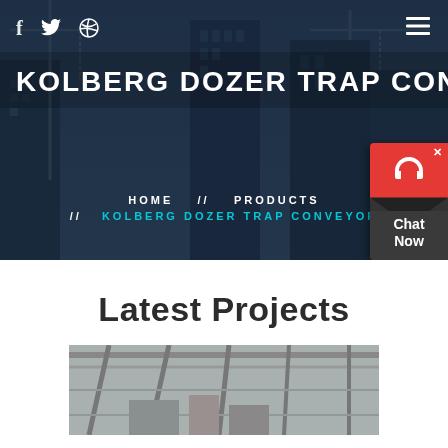f  Twitter  Dribbble  ≡
KOLBERG DOZER TRAP CONVEYOR
HOME  //  PRODUCTS  //  KOLBERG DOZER TRAP CONVEYOR
[Figure (screenshot): Chat Now widget with red header and headset icon]
Latest Projects
[Figure (photo): Construction interior scene showing structural beams and equipment]